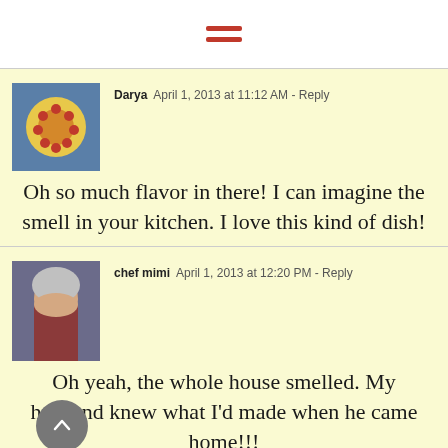[Figure (other): Hamburger menu icon with three red horizontal bars]
Darya  April 1, 2013 at 11:12 AM - Reply
Oh so much flavor in there! I can imagine the smell in your kitchen. I love this kind of dish!
chef mimi  April 1, 2013 at 12:20 PM - Reply
Oh yeah, the whole house smelled. My husband knew what I'd made when he came home!!!